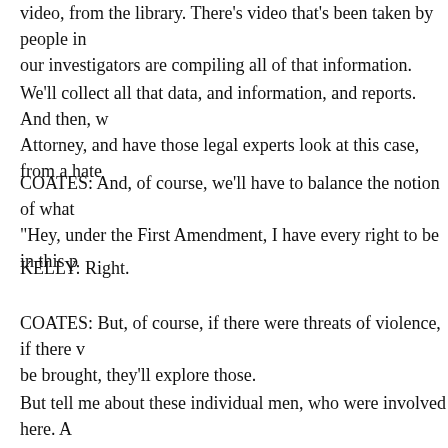video, from the library. There's video that's been taken by people in our investigators are compiling all of that information.
We'll collect all that data, and information, and reports. And then, w Attorney, and have those legal experts look at this case, from a hate
COATES: And, of course, we'll have to balance the notion of what "Hey, under the First Amendment, I have every right to be in this p
KELLY: Right.
COATES: But, of course, if there were threats of violence, if there be brought, they'll explore those.
But tell me about these individual men, who were involved here. A